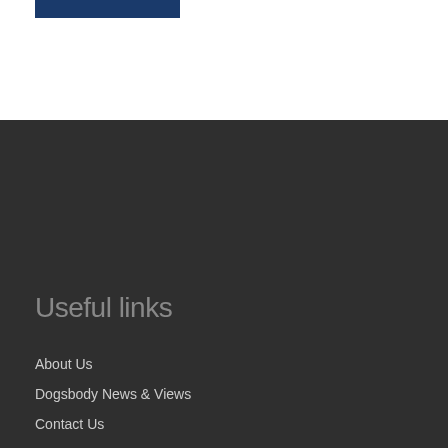[Figure (other): Dark blue horizontal bar at the top of the page]
Useful links
About Us
Dogsbody News & Views
Contact Us
Linux & cloud services